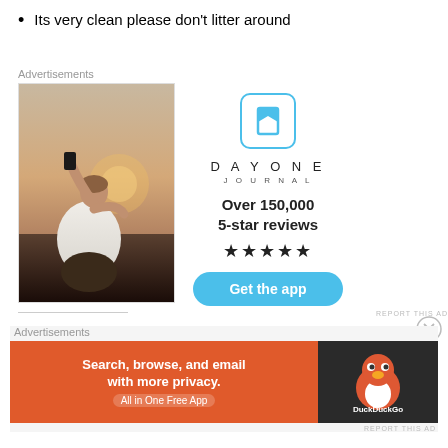Its very clean please don't litter around
[Figure (other): Advertisement block featuring DayOne Journal app. Left side shows a photo of a person sitting on rocks photographing a sunset. Right side shows the DayOne Journal logo, 'Over 150,000 5-star reviews' text, five stars, and a 'Get the app' button.]
[Figure (other): DuckDuckGo advertisement banner. Orange left section with text 'Search, browse, and email with more privacy. All in One Free App'. Dark right section with DuckDuckGo logo.]